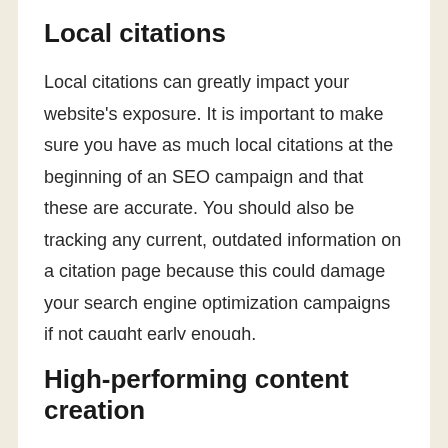Local citations
Local citations can greatly impact your website's exposure. It is important to make sure you have as much local citations at the beginning of an SEO campaign and that these are accurate. You should also be tracking any current, outdated information on a citation page because this could damage your search engine optimization campaigns if not caught early enough.
High-performing content creation